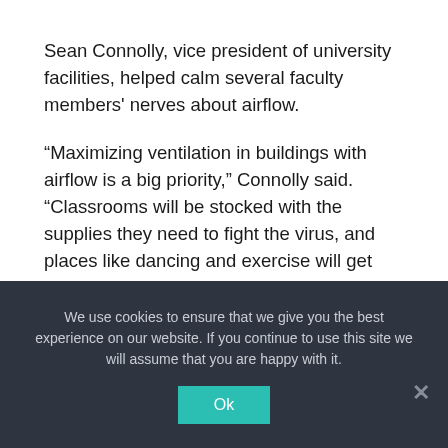Sean Connolly, vice president of university facilities, helped calm several faculty members' nerves about airflow.
“Maximizing ventilation in buildings with airflow is a big priority,” Connolly said. “Classrooms will be stocked with the supplies they need to fight the virus, and places like dancing and exercise will get more air than usual.”
Along with more airflow, tents will again be pitched outside starting April 1 for classes that prefer outdoor learning.
The mental health of the students was a major concern for most staff. Souffleris addressed these concerns
We use cookies to ensure that we give you the best experience on our website. If you continue to use this site we will assume that you are happy with it.